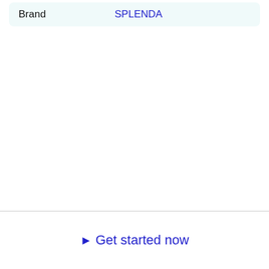| Brand |  |
| --- | --- |
| Brand | SPLENDA |
Get started now